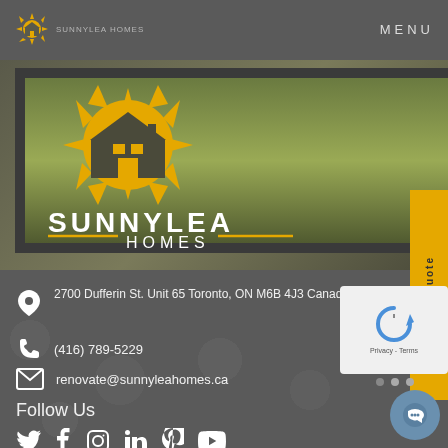MENU
[Figure (logo): Sunnylea Homes logo — sun with house silhouette, yellow and white, with text SUNNYLEA HOMES]
2700 Dufferin St. Unit 65 Toronto, ON M6B 4J3 Canada
(416) 789-5229
renovate@sunnyleahomes.ca
Follow Us
[Figure (illustration): Social media icons: Twitter, Facebook, Instagram, LinkedIn, Pinterest, YouTube]